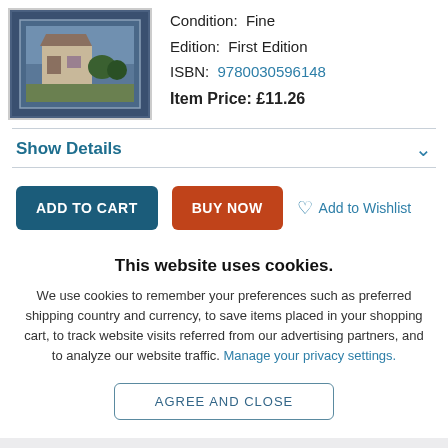[Figure (photo): Book cover photo showing a house/building scene, displayed in a bordered frame]
Condition: Fine
Edition: First Edition
ISBN: 9780030596148
Item Price: £11.26
Show Details
ADD TO CART   BUY NOW   Add to Wishlist
This website uses cookies.
We use cookies to remember your preferences such as preferred shipping country and currency, to save items placed in your shopping cart, to track website visits referred from our advertising partners, and to analyze our website traffic. Manage your privacy settings.
AGREE AND CLOSE